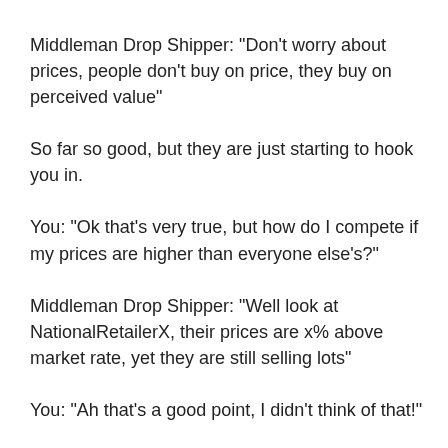Middleman Drop Shipper: "Don't worry about prices, people don't buy on price, they buy on perceived value"
So far so good, but they are just starting to hook you in.
You: "Ok that's very true, but how do I compete if my prices are higher than everyone else's?"
Middleman Drop Shipper: "Well look at NationalRetailerX, their prices are x% above market rate, yet they are still selling lots"
You: "Ah that's a good point, I didn't think of that!"
This is where the middleman has got you in their grasp.
The truth, Wholesale Forum friend, is that when you are small,